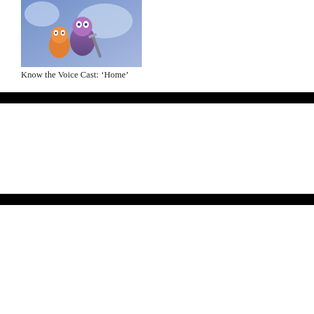[Figure (illustration): Animated movie still showing colorful characters from 'Home', featuring a small alien character with orange/purple coloring]
Know the Voice Cast: ‘Home’
← Know the Cast: ‘The Premise’ Season 1
Know the Cast: ‘The Lost Symbol’ Season 1 →
Advertisements
[Figure (screenshot): Victoria's Secret advertisement banner with model, VS logo, 'SHOP THE COLLECTION' text, and 'SHOP NOW' button on pink background]